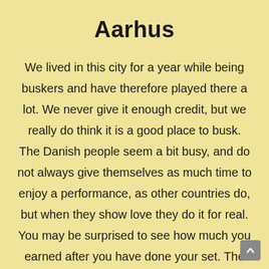Aarhus
We lived in this city for a year while being buskers and have therefore played there a lot. We never give it enough credit, but we really do think it is a good place to busk. The Danish people seem a bit busy, and do not always give themselves as much time to enjoy a performance, as other countries do, but when they show love they do it for real. You may be surprised to see how much you earned after you have done your set. The places to play are Lille Torv, Skt.